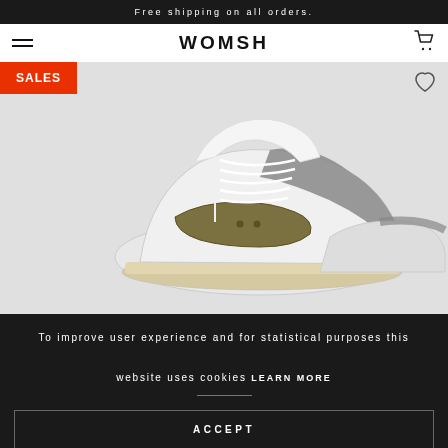Free shipping on all orders.
WOMSH
[Figure (photo): High-top sneaker in white leather and grey suede with olive/khaki ankle strap and white laces, displayed on light grey background with SALES badge overlay]
To improve user experience and for statistical purposes this website uses cookies LEARN MORE
ACCEPT